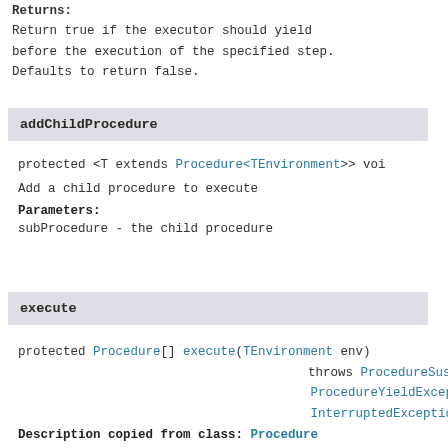Returns:
Return true if the executor should yield before the execution of the specified step. Defaults to return false.
addChildProcedure
protected <T extends Procedure<TEnvironment>> voi
Add a child procedure to execute
Parameters:
subProcedure - the child procedure
execute
protected Procedure[] execute(TEnvironment env)
    throws ProcedureSuspendedE
           ProcedureYieldExcep
           InterruptedExceptio
Description copied from class: Procedure